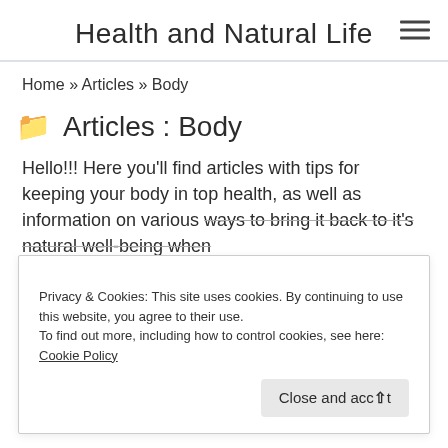Health and Natural Life
Home » Articles » Body
Articles : Body
Hello!!! Here you'll find articles with tips for keeping your body in top health, as well as information on various ways to bring it back to it's natural well-being when s...
Privacy & Cookies: This site uses cookies. By continuing to use this website, you agree to their use.
To find out more, including how to control cookies, see here: Cookie Policy
Close and accept